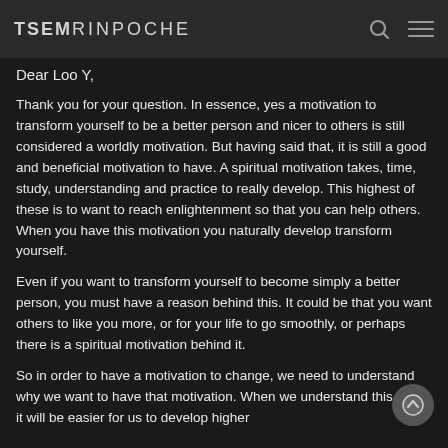TSEM RINPOCHE
Dear Loo Y,
Thank you for your question. In essence, yes a motivation to transform yourself to be a better person and nicer to others is still considered a worldly motivation. But having said that, it is still a good and beneficial motivation to have. A spiritual motivation takes, time, study, understanding and practice to really develop. This highest of these is to want to reach enlightenment so that you can help others. When you have this motivation you naturally develop transform yourself.
Even if you want to transform yourself to become simply a better person, you must have a reason behind this. It could be that you want others to like you more, or for your life to go smoothly, or perhaps there is a spiritual motivation behind it.
So in order to have a motivation to change, we need to understand why we want to have that motivation. When we understand this, then it will be easier for us to develop higher